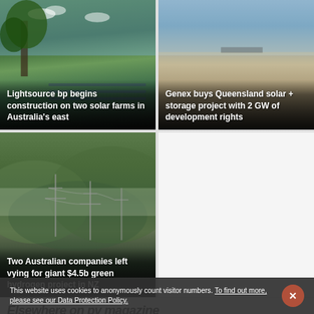[Figure (photo): Solar farm and trees in Australia with blue sky, news card]
Lightsource bp begins construction on two solar farms in Australia's east
[Figure (photo): Arid desert landscape with solar project, news card]
Genex buys Queensland solar + storage project with 2 GW of development rights
[Figure (photo): Green forested mountains with electricity pylons, New Zealand hydrogen project news card]
Two Australian companies left vying for giant $4.5b green hydrogen project in NZ
Elsewhere on pv magazine
This website uses cookies to anonymously count visitor numbers. To find out more, please see our Data Protection Policy.